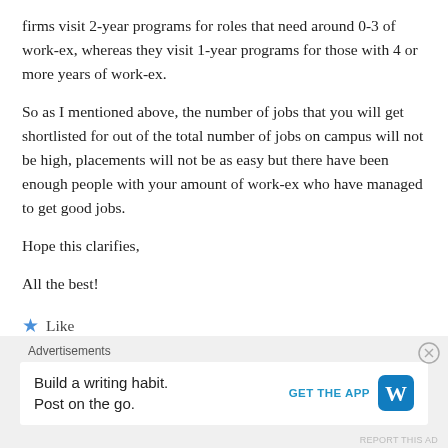firms visit 2-year programs for roles that need around 0-3 of work-ex, whereas they visit 1-year programs for those with 4 or more years of work-ex.
So as I mentioned above, the number of jobs that you will get shortlisted for out of the total number of jobs on campus will not be high, placements will not be as easy but there have been enough people with your amount of work-ex who have managed to get good jobs.
Hope this clarifies,
All the best!
★ Like
Reply
Advertisements
Build a writing habit. Post on the go.
GET THE APP